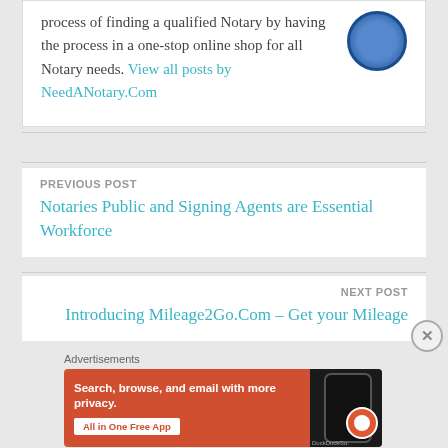process of finding a qualified Notary by having the process in a one-stop online shop for all Notary needs. View all posts by NeedANotary.Com
PREVIOUS POST
Notaries Public and Signing Agents are Essential Workforce
NEXT POST
Introducing Mileage2Go.Com – Get your Mileage
Advertisements
[Figure (screenshot): DuckDuckGo advertisement banner with orange background reading 'Search, browse, and email with more privacy. All in One Free App' with a phone showing the DuckDuckGo logo]